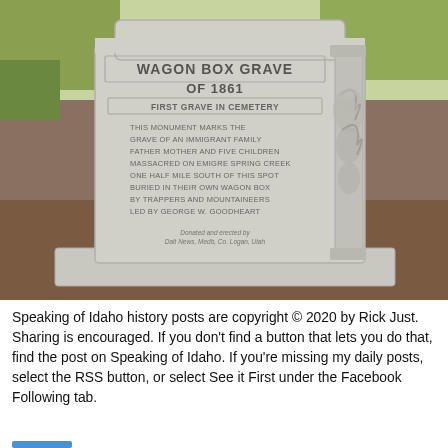[Figure (photo): Photograph of a gray stone grave marker reading 'WAGON BOX GRAVE OF 1861 FIRST GRAVE IN CEMETERY' with inscribed text about an immigrant family massacred, with decorative carved floral/leaf relief on the right side, set on a rectangular stone base on a brown mulch ground with green grass in background.]
Speaking of Idaho history posts are copyright © 2020 by Rick Just. Sharing is encouraged. If you don't find a button that lets you do that, find the post on Speaking of Idaho. If you're missing my daily posts, select the RSS button, or select See it First under the Facebook Following tab.